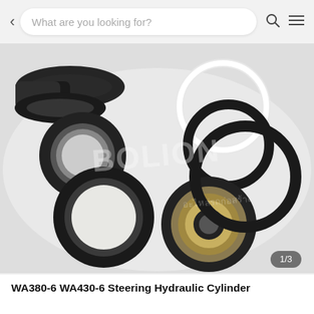< What are you looking for? [search icon] [menu icon]
[Figure (photo): Product photo of WA380-6 WA430-6 steering hydraulic cylinder seal kit components: multiple rubber o-rings and seals of various sizes laid on a white surface. Includes black rubber rings, a white PTFE ring, and a metal-backed seal. Watermark text 'BOLION' visible in center. Badge '1/3' in bottom right corner.]
WA380-6 WA430-6 Steering Hydraulic Cylinder